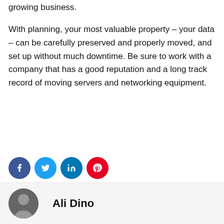growing business.
With planning, your most valuable property – your data – can be carefully preserved and properly moved, and set up without much downtime. Be sure to work with a company that has a good reputation and a long track record of moving servers and networking equipment.
[Figure (infographic): Four social media share buttons: Facebook (dark blue circle with f), Twitter (blue circle with bird), LinkedIn (blue circle with in), Pinterest (red circle with P)]
Ali Dino